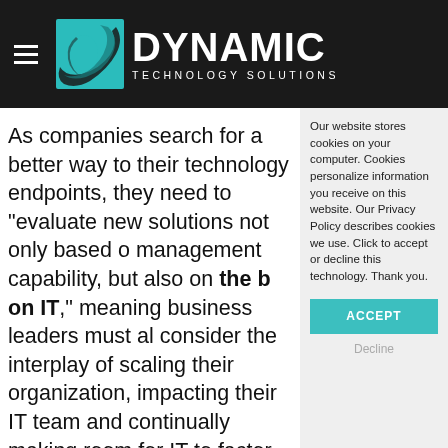DYNAMIC TECHNOLOGY SOLUTIONS
Our website stores cookies on your computer. Cookies personalize information you receive on this website. Our Privacy Policy describes cookies we use. Click to accept or decline this technology. Thank you.
As companies search for a better way to their technology endpoints, they need to "evaluate new solutions not only based o management capability, but also on the b on IT," meaning business leaders must al consider the interplay of scaling their organization, impacting their IT team and continually making room for IT to factor innovation and larger strategy in their eve efforts.¹ Unified Endpoint Management m of this possible, so companies are jumpi bandwagon to propel themselves forwar 2019.